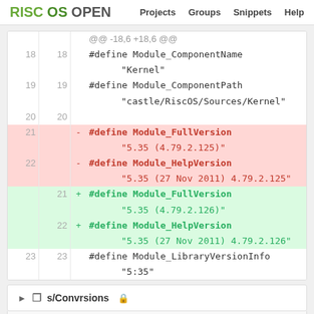RISC OS OPEN  Projects  Groups  Snippets  Help
@@ -18,6 +18,6 @@
18 18  #define Module_ComponentName
         "Kernel"
19 19  #define Module_ComponentPath
         "castle/RiscOS/Sources/Kernel"
20 20
21    - #define Module_FullVersion
         "5.35 (4.79.2.125)"
22    - #define Module_HelpVersion
         "5.35 (27 Nov 2011) 4.79.2.125"
   21  + #define Module_FullVersion
         "5.35 (4.79.2.126)"
   22  + #define Module_HelpVersion
         "5.35 (27 Nov 2011) 4.79.2.126"
23 23  #define Module_LibraryVersionInfo
         "5:35"
s/Convrsions
This diff is collapsed. Click to expand it.